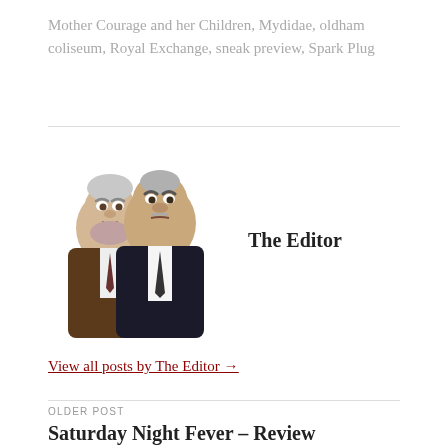Mother Courage and her Children, Mydidae, oldham coliseum, Royal Exchange, sneak preview, Spark Plug
[Figure (photo): Two Muppet characters (Statler and Waldorf) in formal attire, side by side]
The Editor
View all posts by The Editor →
OLDER POST
Saturday Night Fever – Review